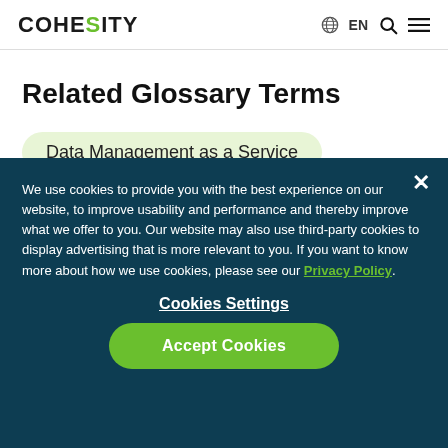COHESITY | EN
Related Glossary Terms
Data Management as a Service
We use cookies to provide you with the best experience on our website, to improve usability and performance and thereby improve what we offer to you. Our website may also use third-party cookies to display advertising that is more relevant to you. If you want to know more about how we use cookies, please see our Privacy Policy.
Cookies Settings
Accept Cookies